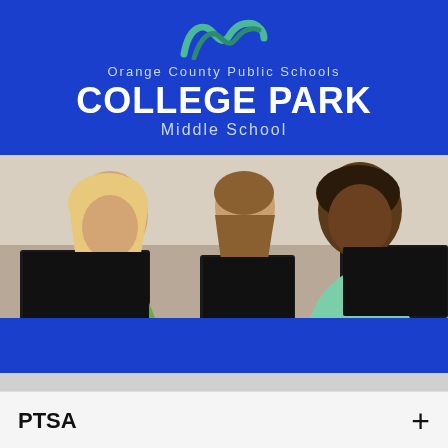[Figure (logo): Orange County Public Schools College Park Middle School logo banner with teal/green swoosh graphic on blue background]
Orange County Public Schools COLLEGE PARK Middle School
[Figure (photo): Students working on laptop computers in a classroom setting, multiple students visible including blonde female student in foreground and smiling student on right]
[Figure (other): Blue navigation bar]
PTSA
College Park MS » Parents » PTSA